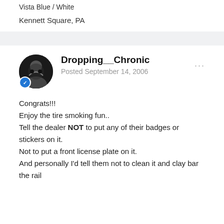Vista Blue / White
Kennett Square, PA
Dropping__Chronic
Posted September 14, 2006
Congrats!!!
Enjoy the tire smoking fun..
Tell the dealer NOT to put any of their badges or stickers on it.
Not to put a front license plate on it.
And personally I'd tell them not to clean it and clay bar the rail